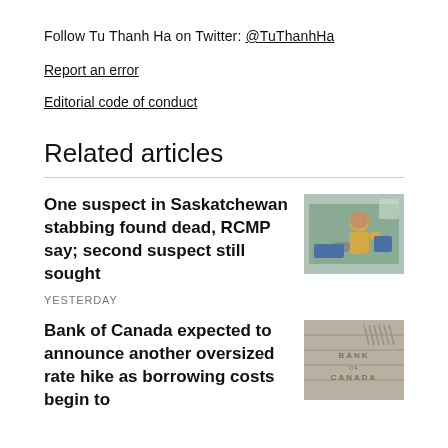Follow Tu Thanh Ha on Twitter: @TuThanhHa
Report an error
Editorial code of conduct
Related articles
One suspect in Saskatchewan stabbing found dead, RCMP say; second suspect still sought
YESTERDAY
[Figure (photo): Person in yellow shirt sitting in chair outdoors]
Bank of Canada expected to announce another oversized rate hike as borrowing costs begin to
[Figure (photo): Bank of Canada stone building facade with engraved text]